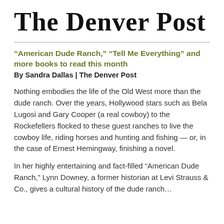The Denver Post
“American Dude Ranch,” “Tell Me Everything” and more books to read this month
By Sandra Dallas | The Denver Post
Nothing embodies the life of the Old West more than the dude ranch. Over the years, Hollywood stars such as Bela Lugosi and Gary Cooper (a real cowboy) to the Rockefellers flocked to these guest ranches to live the cowboy life, riding horses and hunting and fishing — or, in the case of Ernest Hemingway, finishing a novel.
In her highly entertaining and fact-filled “American Dude Ranch,” Lynn Downey, a former historian at Levi Strauss & Co., gives a cultural history of the dude ranch…